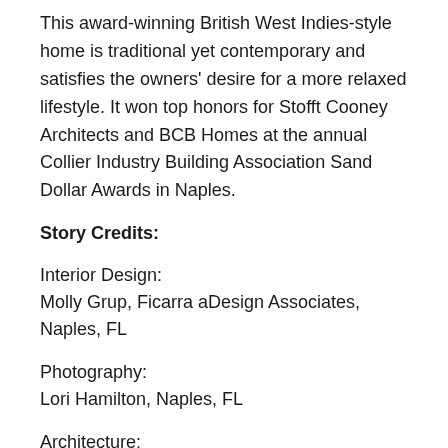This award-winning British West Indies-style home is traditional yet contemporary and satisfies the owners' desire for a more relaxed lifestyle. It won top honors for Stofft Cooney Architects and BCB Homes at the annual Collier Industry Building Association Sand Dollar Awards in Naples.
Story Credits:
Interior Design:
Molly Grup, Ficarra aDesign Associates, Naples, FL
Photography:
Lori Hamilton, Naples, FL
Architecture:
Randall Stofft and John Cooney, Stofft Cooney Architects, Naples, FL